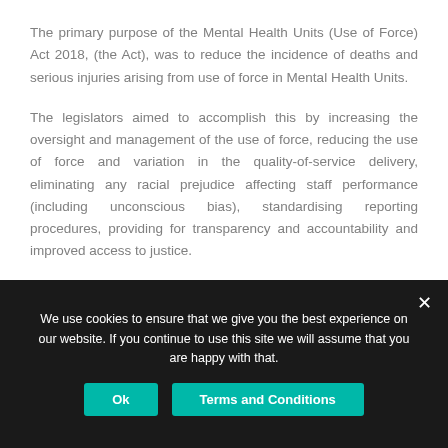The primary purpose of the Mental Health Units (Use of Force) Act 2018, (the Act), was to reduce the incidence of deaths and serious injuries arising from use of force in Mental Health Units.
The legislators aimed to accomplish this by increasing the oversight and management of the use of force, reducing the use of force and variation in the quality-of-service delivery, eliminating any racial prejudice affecting staff performance (including unconscious bias), standardising reporting procedures, providing for transparency and accountability and improved access to justice.
We use cookies to ensure that we give you the best experience on our website. If you continue to use this site we will assume that you are happy with that.
Ok
Terms and Conditions